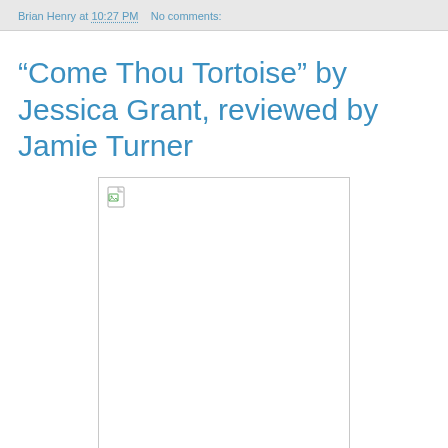Brian Henry at 10:27 PM   No comments:
“Come Thou Tortoise” by Jessica Grant, reviewed by Jamie Turner
[Figure (photo): Broken image placeholder box with a small broken-image icon in the top-left corner]